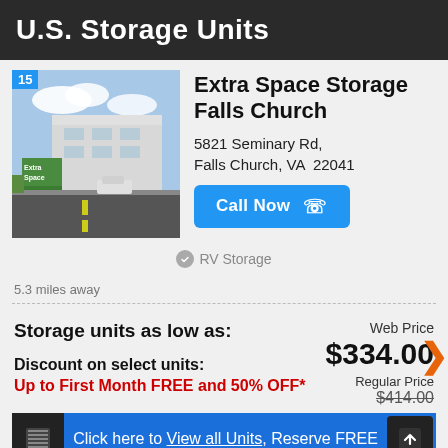U.S. Storage Units
Extra Space Storage Falls Church
5821 Seminary Rd, Falls Church, VA  22041
Call Now
RV Storage
5.3 miles away
Storage units as low as:
Web Price $334.00
Discount on select units:
Up to First Month FREE and 50% OFF*
Regular Price $414.00
Click here to View all Units, Reserve FREE